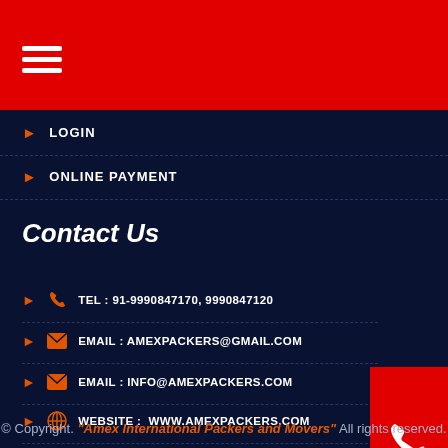[Figure (screenshot): Red header bar with white hamburger/menu icon (three horizontal lines)]
> LOGIN
> ONLINE PAYMENT
Contact Us
> TEL : 91-9990847170, 9990847120
> EMAIL : AMEXPACKERS@GMAIL.COM
> EMAIL : INFO@AMEXPACKERS.COM
> WEBSITE :  WWW.AMEXPACKERS.COM
[Figure (infographic): Red call button with white phone icon on the right side]
[Figure (infographic): Green WhatsApp button with white WhatsApp icon on the right side]
© Copyright. "Amex International Packers and Movers" All rights reserved.